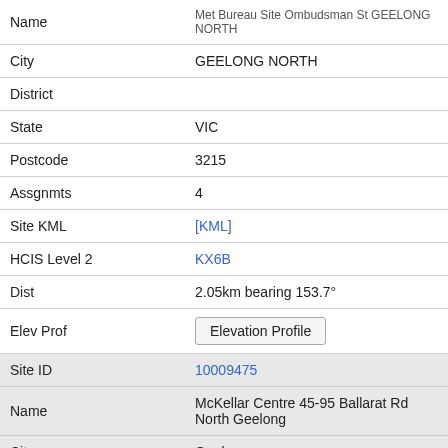| Field | Value |
| --- | --- |
| Name | Met Bureau Site Ombudsman St GEELONG NORTH |
| City | GEELONG NORTH |
| District |  |
| State | VIC |
| Postcode | 3215 |
| Assgnmts | 4 |
| Site KML | [KML] |
| HCIS Level 2 | KX6B |
| Dist | 2.05km bearing 153.7° |
| Elev Prof | Elevation Profile |
| Site ID | 10009475 |
| Name | McKellar Centre 45-95 Ballarat Rd North Geelong |
| City | Geelong |
| District |  |
| State | VIC |
| Postcode |  |
| Assgnmts |  |